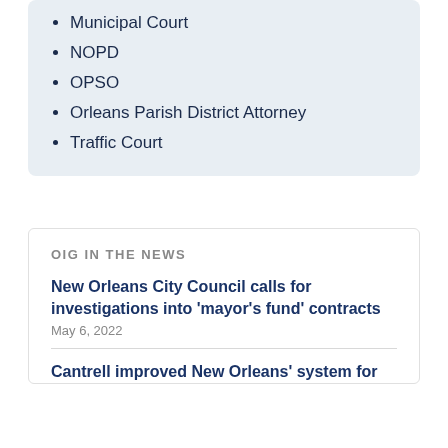Municipal Court
NOPD
OPSO
Orleans Parish District Attorney
Traffic Court
OIG IN THE NEWS
New Orleans City Council calls for investigations into 'mayor's fund' contracts
May 6, 2022
Cantrell improved New Orleans' system for